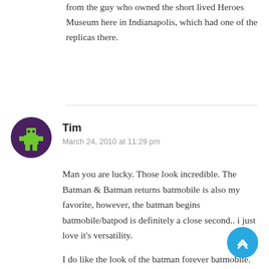from the guy who owned the short lived Heroes Museum here in Indianapolis, which had one of the replicas there.
Tim
March 24, 2010 at 11:29 pm
[Figure (illustration): Pixel art avatar of a green character on a dark purple circular background]
Man you are lucky. Those look incredible. The Batman & Batman returns batmobile is also my favorite, however, the batman begins batmobile/batpod is definitely a close second.. i just love it's versatility.
I do like the look of the batman forever batmobile. when i was a kid i just really liked it for some reason, it doesn't hold a candle to the returns and begins vehicles.. but i think it's a very neat looking car, especially with the blue lights.